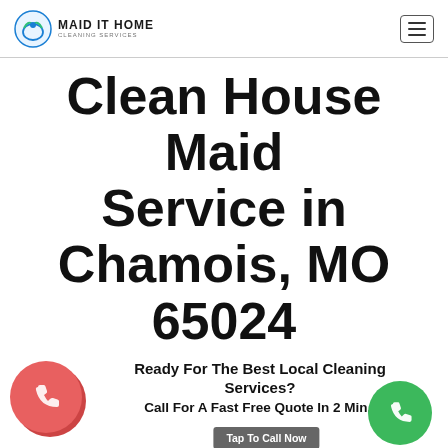MAID IT HOME CLEANING SERVICES
Clean House Maid Service in Chamois, MO 65024
Ready For The Best Local Cleaning Services?
Call For A Fast Free Quote In 2 Min.:
Tap To Call Now
(844) 933 4117